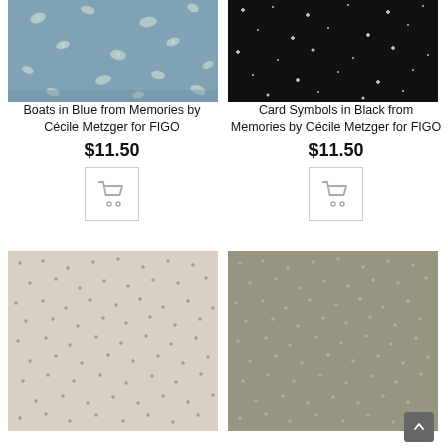[Figure (photo): Fabric swatch showing boats/moons pattern on blue-grey background]
Boats in Blue from Memories by Cécile Metzger for FIGO
$11.50
[Figure (other): Shopping cart icon button]
[Figure (photo): Fabric swatch showing card symbols (stars/crosses) on black background]
Card Symbols in Black from Memories by Cécile Metzger for FIGO
$11.50
[Figure (other): Shopping cart icon button]
[Figure (photo): Fabric swatch showing small cross/plus pattern on cream/beige background]
[Figure (photo): Fabric swatch showing small cross/plus pattern on grey/khaki background]